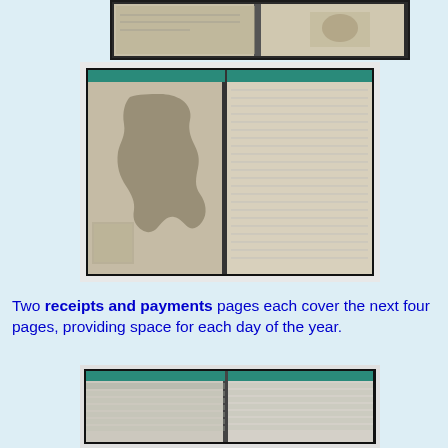[Figure (photo): Open notebook/diary showing two pages with maps, top photo]
[Figure (photo): Open notebook/diary showing left page with map of Africa and right ruled blank page]
Two receipts and payments pages each cover the next four pages, providing space for each day of the year.
[Figure (photo): Open notebook/diary showing receipts and payments pages with teal headers and ruled lines]